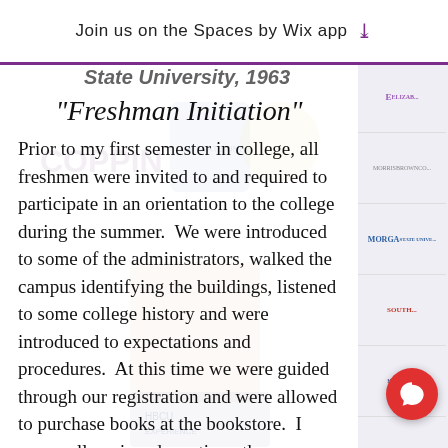Join us on the Spaces by Wix app
State University, 1963
"Freshman Initiation"
Prior to my first semester in college, all freshmen were invited to and required to participate in an orientation to the college during the summer.  We were introduced to some of the administrators, walked the campus identifying the buildings, listened to some college history and were introduced to expectations and procedures.  At this time we were guided through our registration and were allowed to purchase books at the bookstore.  I personally enjoyed meeting other neophytes and spending